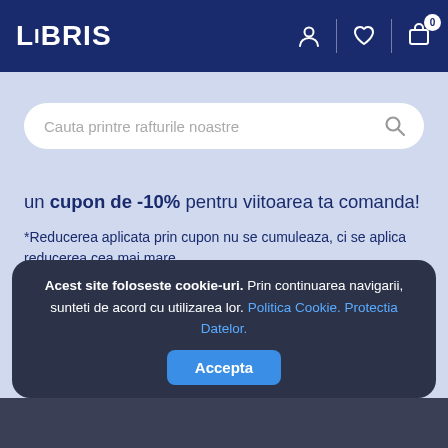LIBRIS
Cauta printre rafturile noastre
un cupon de -10% pentru viitoarea ta comanda!
*Reducerea aplicata prin cupon nu se cumuleaza, ci se aplica reducerea cea mai mare.
Nume si Prenume
Adresa ta de e-mail
Acest site foloseste cookie-uri. Prin continuarea navigarii, sunteti de acord cu utilizarea lor. Politica Cookie. Protectia Datelor. Accepta